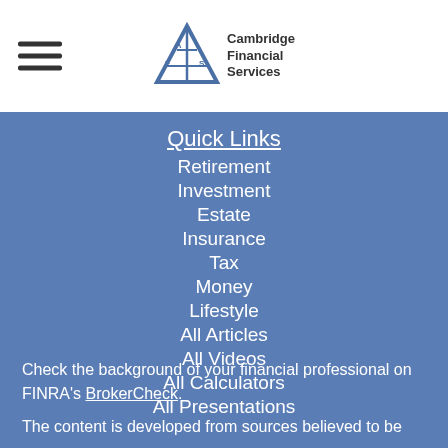[Figure (logo): Cambridge Financial Services logo with triangular geometric mark and company name text]
Quick Links
Retirement
Investment
Estate
Insurance
Tax
Money
Lifestyle
All Articles
All Videos
All Calculators
All Presentations
Check the background of your financial professional on FINRA's BrokerCheck.
The content is developed from sources believed to be